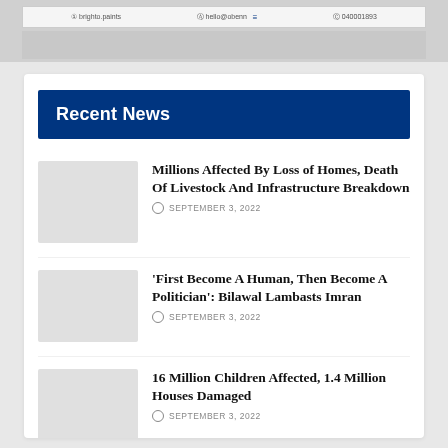[Figure (screenshot): Top banner with website header bar showing social/contact info and a blurred image row below]
Recent News
Millions Affected By Loss of Homes, Death Of Livestock And Infrastructure Breakdown
SEPTEMBER 3, 2022
'First Become A Human, Then Become A Politician': Bilawal Lambasts Imran
SEPTEMBER 3, 2022
16 Million Children Affected, 1.4 Million Houses Damaged
SEPTEMBER 3, 2022